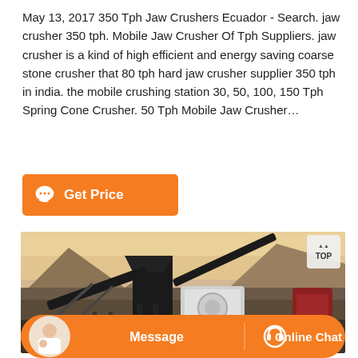May 13, 2017 350 Tph Jaw Crushers Ecuador - Search. jaw crusher 350 tph. Mobile Jaw Crusher Of Tph Suppliers. jaw crusher is a kind of high efficient and energy saving coarse stone crusher that 80 tph hard jaw crusher supplier 350 tph in india. the mobile crushing station 30, 50, 100, 150 Tph Spring Cone Crusher. 50 Tph Mobile Jaw Crusher…
[Figure (other): Orange 'Get Price' button with chat bubble icon]
[Figure (photo): Photograph of a mobile jaw crusher machine operating in a rocky quarry/mountainous area, with conveyor belts and machinery visible against a hilly backdrop]
[Figure (other): Orange banner at the bottom with a customer service avatar on the left, 'Message' button in the center, and 'Online Chat' with headset icon on the right]